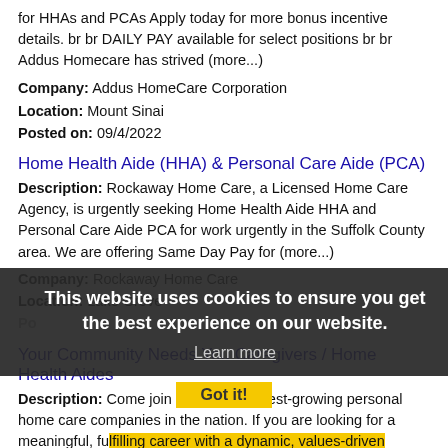for HHAs and PCAs Apply today for more bonus incentive details. br br DAILY PAY available for select positions br br Addus Homecare has strived (more...)
Company: Addus HomeCare Corporation
Location: Mount Sinai
Posted on: 09/4/2022
Home Health Aide (HHA) & Personal Care Aide (PCA)
Description: Rockaway Home Care, a Licensed Home Care Agency, is urgently seeking Home Health Aide HHA and Personal Care Aide PCA for work urgently in the Suffolk County area. We are offering Same Day Pay for (more...)
Company: Rockaway Home Care
Location: Lake Grove
Your Community Needs You Caregivers / Home Health Aides
Description: Come join one of the fastest-growing personal home care companies in the nation. If you are looking for a meaningful, fulfilling career with a dynamic, values-driven organization that recognizes and (more...)
Company: Addus
Location: Shoreham
This website uses cookies to ensure you get the best experience on our website. Learn more Got it!